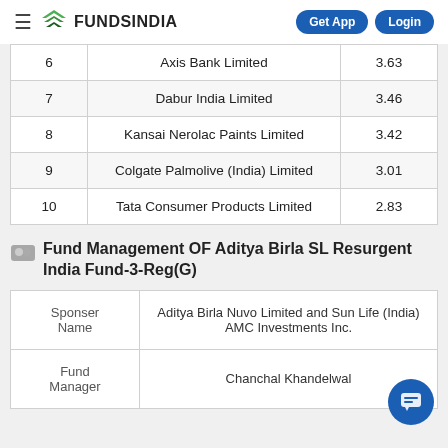FUNDSINDIA | Get App | Login
| # | Name | % |
| --- | --- | --- |
| 6 | Axis Bank Limited | 3.63 |
| 7 | Dabur India Limited | 3.46 |
| 8 | Kansai Nerolac Paints Limited | 3.42 |
| 9 | Colgate Palmolive (India) Limited | 3.01 |
| 10 | Tata Consumer Products Limited | 2.83 |
Fund Management OF Aditya Birla SL Resurgent India Fund-3-Reg(G)
| Field | Value |
| --- | --- |
| Sponser Name | Aditya Birla Nuvo Limited and Sun Life (India) AMC Investments Inc. |
| Fund Manager | Chanchal Khandelwal |